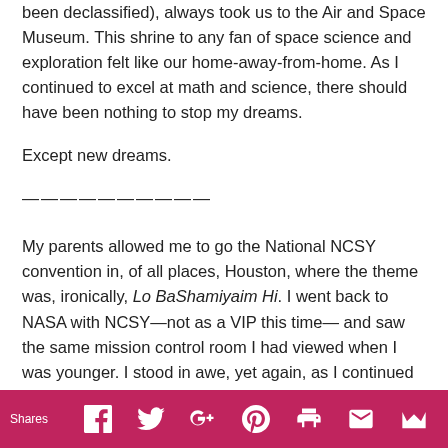been declassified), always took us to the Air and Space Museum. This shrine to any fan of space science and exploration felt like our home-away-from-home. As I continued to excel at math and science, there should have been nothing to stop my dreams.
Except new dreams.
——————————
My parents allowed me to go the National NCSY convention in, of all places, Houston, where the theme was, ironically, Lo BaShamiyaim Hi. I went back to NASA with NCSY—not as a VIP this time— and saw the same mission control room I had viewed when I was younger. I stood in awe, yet again, as I continued to
Shares   f   𝕋   G+   𝓟   🖶   ✉   👑